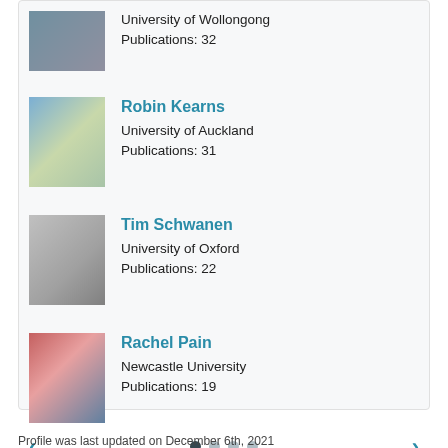[Figure (photo): Partial view of a person at top of list (University of Wollongong, 32 publications)]
University of Wollongong
Publications: 32
[Figure (photo): Photo of Robin Kearns, smiling person in colorful shirt outdoors]
Robin Kearns
University of Auckland
Publications: 31
[Figure (photo): Black and white photo of Tim Schwanen]
Tim Schwanen
University of Oxford
Publications: 22
[Figure (photo): Photo of Rachel Pain, woman with short brown hair smiling]
Rachel Pain
Newcastle University
Publications: 19
Profile was last updated on December 6th, 2021